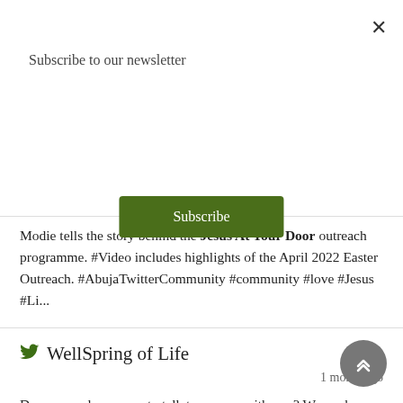Subscribe to our newsletter
Subscribe
Modie tells the story behind the Jesus At Your Door outreach programme. #Video includes highlights of the April 2022 Easter Outreach. #AbujaTwitterCommunity #community #love #Jesus #Li...
WellSpring of Life
1 month ago
Do you need someone to talk to or pray with you? We are here for you! #wellspringoflifeinternational #globaloutreach